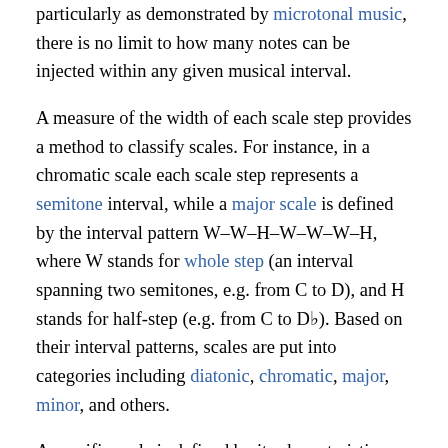particularly as demonstrated by microtonal music, there is no limit to how many notes can be injected within any given musical interval.
A measure of the width of each scale step provides a method to classify scales. For instance, in a chromatic scale each scale step represents a semitone interval, while a major scale is defined by the interval pattern W–W–H–W–W–W–H, where W stands for whole step (an interval spanning two semitones, e.g. from C to D), and H stands for half-step (e.g. from C to D♭). Based on their interval patterns, scales are put into categories including diatonic, chromatic, major, minor, and others.
A specific scale is defined by its characteristic interval pattern and by a special note, known as its first degree (or tonic). The tonic of a scale is the note selected as the beginning of the octave, and therefore as the beginning of